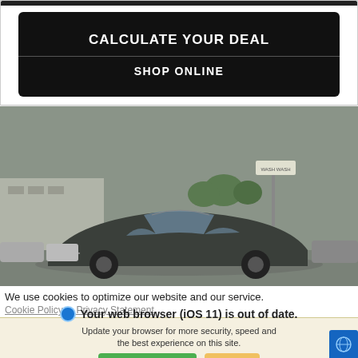CALCULATE YOUR DEAL
SHOP ONLINE
[Figure (photo): Photo of a dark gray sedan (Chevrolet Malibu) in a car dealership lot with a red banner at top and outdoor scene in background]
We use cookies to optimize our website and our service.
Cookie Policy   Privacy Statement
Your web browser (iOS 11) is out of date. Update your browser for more security, speed and the best experience on this site.
Update browser
Ignore